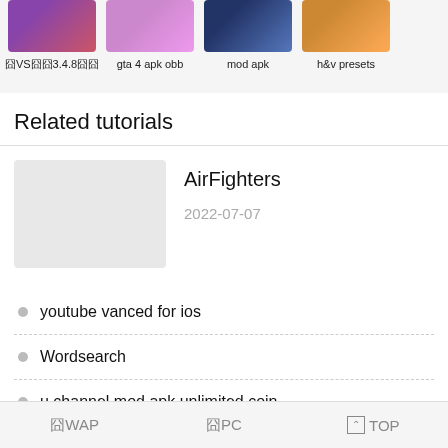[Figure (screenshot): Four app thumbnail images in a horizontal row at the top]
囧VS囧囧3.4.8囧囧
gta 4 apk obb
mod apk
h&v presets
Related tutorials
[Figure (screenshot): AirFighters tutorial thumbnail placeholder (light grey)]
AirFighters
2022-07-07
youtube vanced for ios
Wordsearch
u channel mod apk unlimited coin
囧WAP　　囧PC　　⌃TOP